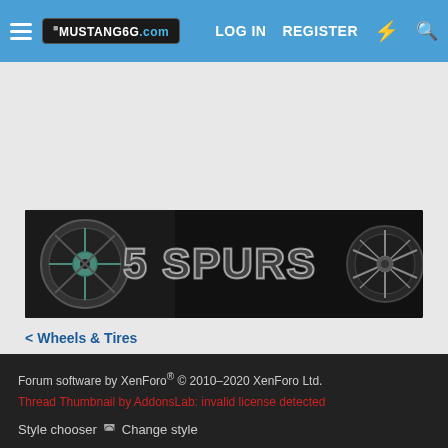MUSTANG6G.com | LOG IN | REGISTER
[Figure (illustration): 5 Spurs wheel/tire product banner: dark background with chrome wheel imagery on left and '5 SPURS' metallic text on right with a spoked wheel badge]
< Wheels & Tires
Forum software by XenForo® © 2010-2020 XenForo Ltd.
Thread Thumbnail by AddonsLab: invalid license detected
Style chooser | Change style
Sponsors | Contact us | Terms of Service / DMCA Policy
Privacy policy | Help | Home